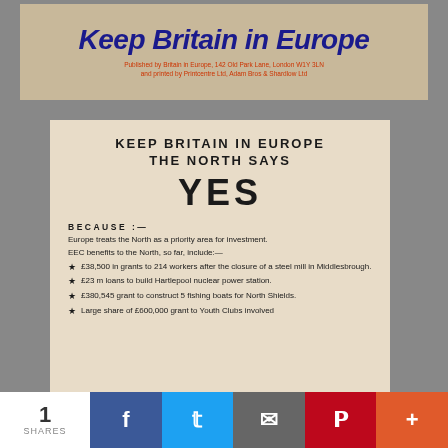[Figure (photo): Photo of a printed banner with italic bold blue text 'Keep Britain in Europe' on a cream/tan background, with red small print below: 'Published by Britain in Europe, 142 Old Park Lane, London W1Y 3LN and printed by Printcentre Ltd, Adam Bros & Shardlow Ltd']
[Figure (photo): Photo of a printed leaflet on cream paper background reading: 'KEEP BRITAIN IN EUROPE / THE NORTH SAYS / YES / BECAUSE:— / Europe treats the North as a priority area for investment. / EEC benefits to the North, so far, include:— / ★ £38,500 in grants to 214 workers after the closure of a steel mill in Middlesbrough. / ★ £23 m loans to build Hartlepool nuclear power station. / ★ £380,545 grant to construct 5 fishing boats for North Shields. / ★ Large share of £600,000 grant to Youth Clubs involved']
1 SHARES  [Facebook] [Twitter] [Email] [Pinterest] [More]